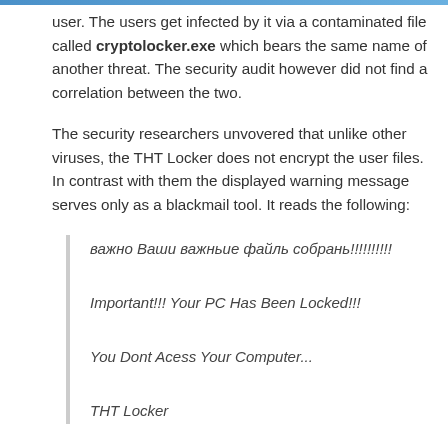user. The users get infected by it via a contaminated file called cryptolocker.exe which bears the same name of another threat. The security audit however did not find a correlation between the two.
The security researchers unvovered that unlike other viruses, the THT Locker does not encrypt the user files. In contrast with them the displayed warning message serves only as a blackmail tool. It reads the following:
важно Ваши важньие файль собрань!!!!!!!!!!\nImportant!!! Your PC Has Been Locked!!!\nYou Dont Acess Your Computer...\nTHT Locker